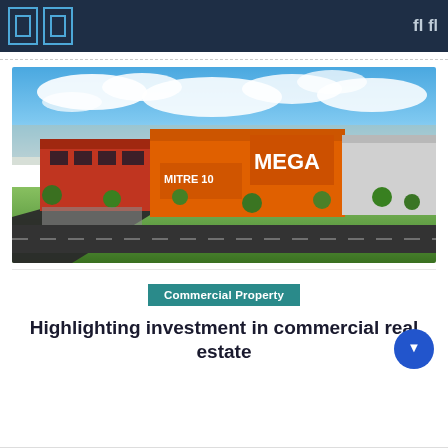Navigation bar with icons
[Figure (photo): Aerial photograph of a commercial retail precinct featuring a Mitre 10 MEGA hardware store with orange facade, surrounding buildings, roads, green lawns, and trees under a blue sky with clouds.]
Commercial Property
Highlighting investment in commercial real estate